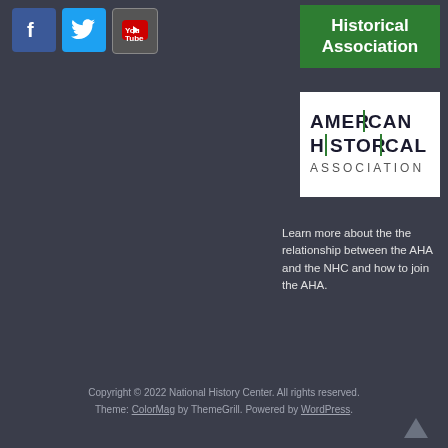[Figure (logo): Facebook, Twitter, and YouTube social media icons in top-left]
Historical Association
[Figure (logo): American Historical Association logo with stylized text: AMERICAN HISTORICAL ASSOCIATION]
Learn more about the the relationship between the AHA and the NHC and how to join the AHA.
Copyright © 2022 National History Center. All rights reserved. Theme: ColorMag by ThemeGrill. Powered by WordPress.